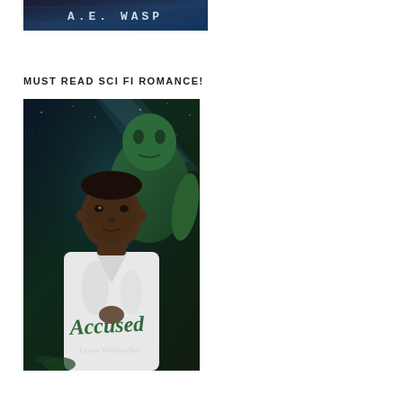[Figure (illustration): Book cover banner for A.E. Wasp — dark background with metallic text reading 'A.E. WASP']
MUST READ SCI FI ROMANCE!
[Figure (illustration): Book cover for 'Accused' by Leona Windwalker — features a young Black man in a white v-neck shirt in the foreground, with a large green alien figure looming behind him against a dark starry background. The title 'Accused' is written in green cursive script, and the author name 'Leona Windwalker' appears below it.]